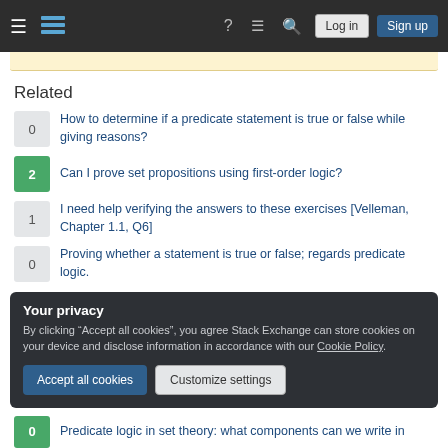Stack Exchange navigation bar with hamburger menu, logo, help, chat, search, Log in, Sign up
Related
0 How to determine if a predicate statement is true or false while giving reasons?
2 Can I prove set propositions using first-order logic?
1 I need help verifying the answers to these exercises [Velleman, Chapter 1.1, Q6]
0 Proving whether a statement is true or false; regards predicate logic.
Your privacy
By clicking "Accept all cookies", you agree Stack Exchange can store cookies on your device and disclose information in accordance with our Cookie Policy.
Accept all cookies   Customize settings
0 Predicate logic in set theory: what components can we write in